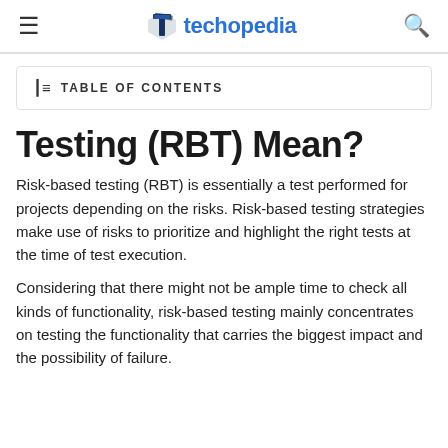techopedia
TABLE OF CONTENTS
Testing (RBT) Mean?
Risk-based testing (RBT) is essentially a test performed for projects depending on the risks. Risk-based testing strategies make use of risks to prioritize and highlight the right tests at the time of test execution.
Considering that there might not be ample time to check all kinds of functionality, risk-based testing mainly concentrates on testing the functionality that carries the biggest impact and the possibility of failure.